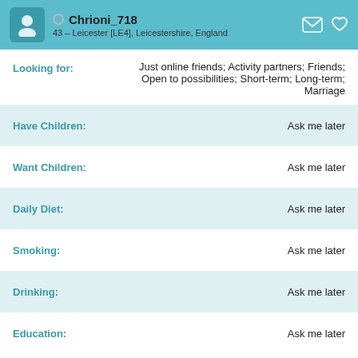Chrioni_718 — 43 – Leicester [LE4], Leicestershire, England
Looking for: Just online friends; Activity partners; Friends; Open to possibilities; Short-term; Long-term; Marriage
Have Children: Ask me later
Want Children: Ask me later
Daily Diet: Ask me later
Smoking: Ask me later
Drinking: Ask me later
Education: Ask me later